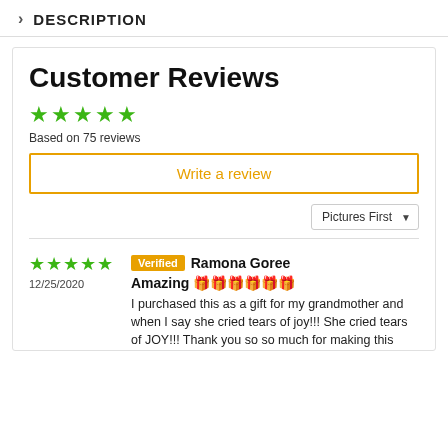> DESCRIPTION
Customer Reviews
★★★★★ Based on 75 reviews
Write a review
Pictures First ▼
★★★★★ 12/25/2020 Verified Ramona Goree
Amazing 🎁🎁🎁🎁🎁🎁
I purchased this as a gift for my grandmother and when I say she cried tears of joy!!! She cried tears of JOY!!! Thank you so so much for making this